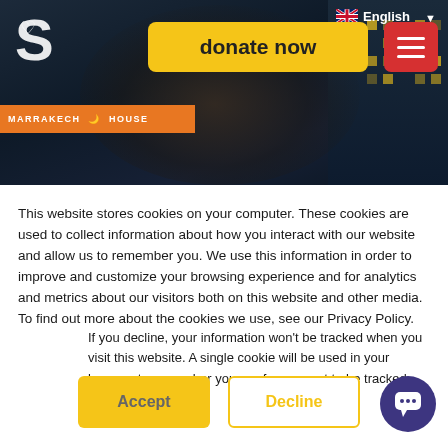[Figure (screenshot): Website header with a night-time street scene photo showing a masked person, with a logo (stylized S with heart), 'donate now' yellow button, red hamburger menu button, and English language selector with UK flag in the top right.]
This website stores cookies on your computer. These cookies are used to collect information about how you interact with our website and allow us to remember you. We use this information in order to improve and customize your browsing experience and for analytics and metrics about our visitors both on this website and other media. To find out more about the cookies we use, see our Privacy Policy.
If you decline, your information won't be tracked when you visit this website. A single cookie will be used in your browser to remember your preference not to be tracked.
Accept
Decline